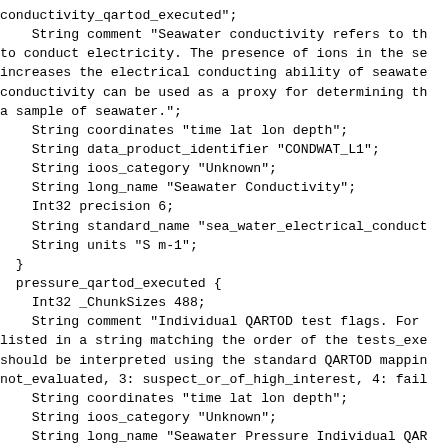conductivity_qartod_executed";
    String comment "Seawater conductivity refers to th
to conduct electricity. The presence of ions in the se
increases the electrical conducting ability of seawate
conductivity can be used as a proxy for determining th
a sample of seawater.";
    String coordinates "time lat lon depth";
    String data_product_identifier "CONDWAT_L1";
    String ioos_category "Unknown";
    String long_name "Seawater Conductivity";
    Int32 precision 6;
    String standard_name "sea_water_electrical_conduct
    String units "S m-1";
  }
  pressure_qartod_executed {
    Int32 _ChunkSizes 488;
    String comment "Individual QARTOD test flags. For
listed in a string matching the order of the tests_exe
should be interpreted using the standard QARTOD mappin
not_evaluated, 3: suspect_or_of_high_interest, 4: fail
    String coordinates "time lat lon depth";
    String ioos_category "Unknown";
    String long_name "Seawater Pressure Individual QAR
    String references "https://ioos.noaa.gov/project/q
https://github.com/ioos/ioos_qc";